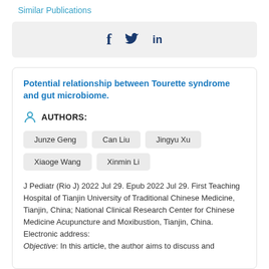Similar Publications
[Figure (other): Social share icons: Facebook (f), Twitter (bird icon), LinkedIn (in)]
Potential relationship between Tourette syndrome and gut microbiome.
AUTHORS:
Junze Geng
Can Liu
Jingyu Xu
Xiaoge Wang
Xinmin Li
J Pediatr (Rio J) 2022 Jul 29. Epub 2022 Jul 29. First Teaching Hospital of Tianjin University of Traditional Chinese Medicine, Tianjin, China; National Clinical Research Center for Chinese Medicine Acupuncture and Moxibustion, Tianjin, China. Electronic address:
Objective: In this article, the author aims to discuss and